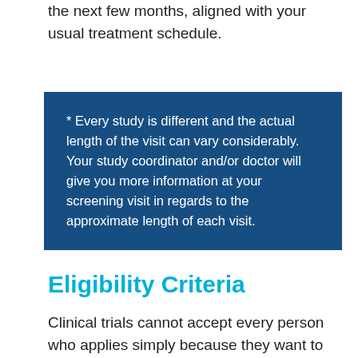the next few months, aligned with your usual treatment schedule.
* Every study is different and the actual length of the visit can vary considerably. Your study coordinator and/or doctor will give you more information at your screening visit in regards to the approximate length of each visit.
Eligibility Criteria
Clinical trials cannot accept every person who applies simply because they want to volunteer.